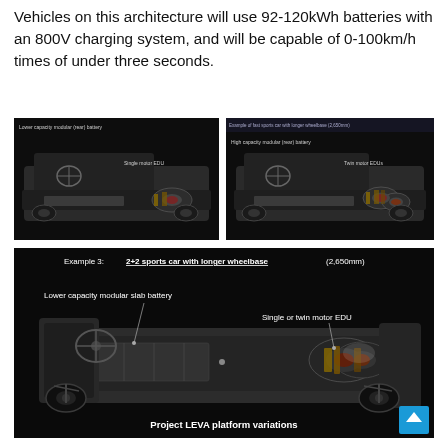Vehicles on this architecture will use 92-120kWh batteries with an 800V charging system, and will be capable of 0-100km/h times of under three seconds.
[Figure (illustration): Two side-by-side dark images showing EV platform cross-sections. Left image labeled 'Lower capacity modular (rear) battery' and 'Single motor EDU'. Right image labeled 'High capacity modular (rear) battery' and 'Twin motor EDU'. Both show sporty 2-seat car chassis configurations.]
[Figure (illustration): Large dark image showing a 2+2 sports car platform labeled 'Example 3: 2+2 sports car with longer wheelbase (2,650mm)'. Labels point to 'Lower capacity modular slab battery' and 'Single or twin motor EDU'. Caption at bottom reads 'Project LEVA platform variations'.]